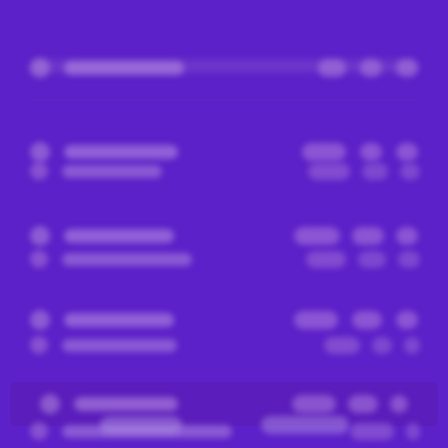[Figure (screenshot): Blurred purple UI screenshot showing a list/table interface with multiple rows, each containing an icon, label text, and badge/status indicators on the right side. The interface has a deep purple background with lighter purple row highlights and pill-shaped text elements. At the bottom is a navigation bar with two buttons.]